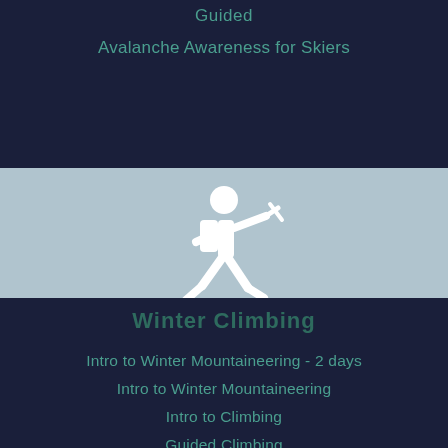Guided
Avalanche Awareness for Skiers
[Figure (illustration): White stick figure icon of a mountaineer/climber with a backpack and ice axe, walking forward, on a light blue angled banner background]
Winter Climbing
Intro to Winter Mountaineering - 2 days
Intro to Winter Mountaineering
Intro to Climbing
Guided Climbing
Avalanche Awareness for Climbers